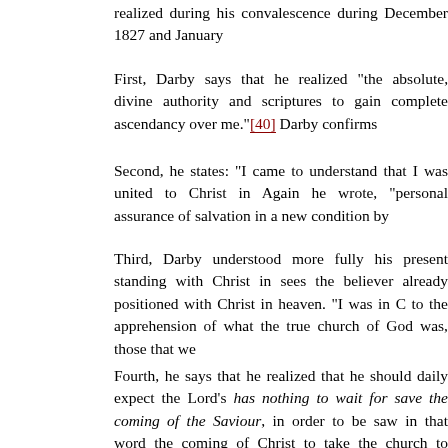realized during his convalescence during December 1827 and January
First, Darby says that he realized "the absolute, divine authority and scriptures to gain complete ascendancy over me."[40] Darby confirms
Second, he states: "I came to understand that I was united to Christ in Again he wrote, "personal assurance of salvation in a new condition by
Third, Darby understood more fully his present standing with Christ in sees the believer already positioned with Christ in heaven. "I was in C to the apprehension of what the true church of God was, those that we
Fourth, he says that he realized that he should daily expect the Lord's has nothing to wait for save the coming of the Saviour, in order to be saw in that word the coming of Christ to take the church to Himself in receive us to Himself; . . . all this was when laid aside at E. P.'s in 182 the other truth which was brought to my mind from the word, as that w heavenly places with Him."[47] Such a cluster of beliefs that were for the importance of an imminent return of Christ for His bride.
Fifth, Darby saw a change in dispensation. This could mean that it wa "Christ coming to receive us to Himself; and collaterally with that,